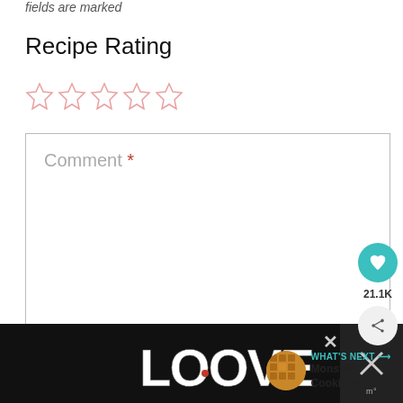fields are marked
Recipe Rating
[Figure (other): Five empty star rating icons in pink/rose color]
Comment *
[Figure (infographic): Floating heart favorite button (teal) showing 21.1K likes, and a share button below it]
[Figure (infographic): What's Next card showing Monster Cookie Bars thumbnail and label]
[Figure (infographic): Bottom advertisement banner with LOVE decorative text in black and white illustration style, close button, and right panel with X icon]